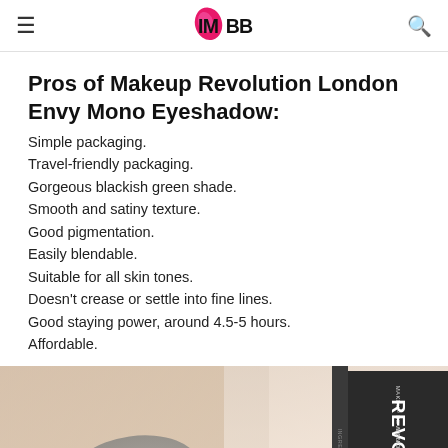IMBB
Pros of Makeup Revolution London Envy Mono Eyeshadow:
Simple packaging.
Travel-friendly packaging.
Gorgeous blackish green shade.
Smooth and satiny texture.
Good pigmentation.
Easily blendable.
Suitable for all skin tones.
Doesn't crease or settle into fine lines.
Good staying power, around 4.5-5 hours.
Affordable.
[Figure (photo): Skin swatch of a dark blue-grey eyeshadow on the back of a hand, with the Makeup Revolution London Envy Mono Eyeshadow product packaging visible on the right side.]